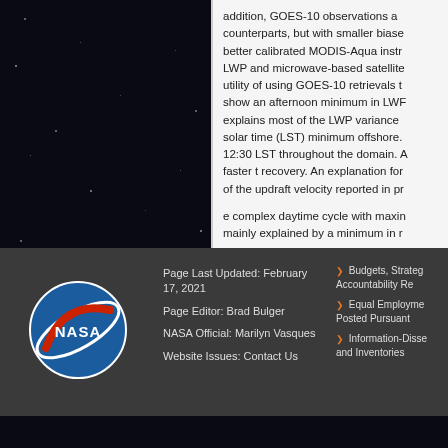addition, GOES-10 observations are compared to their MODIS counterparts, but with smaller biases and better comparisons to the better calibrated MODIS-Aqua instrument. Comparisons to in situ LWP and microwave-based satellite retrievals support the limited utility of using GOES-10 retrievals to study LWP variability. Clouds show an afternoon minimum in LWP along the coast, which explains most of the LWP variance there, with a minimum local solar time (LST) minimum offshore. The minimum occurs around 12:30 LST throughout the domain. A secondary coastal maximum and faster t recovery. An explanation for the minimum involves a reduction of the updraft velocity reported in pr
e complex daytime cycle with maximum LWP mainly explained by a minimum in r
PDF of Publication:
Download from publisher's website.
Research Program:
Modeling Analysis and Prediction P
[Figure (logo): NASA circular logo with blue background, white orbit ring, red swoosh, and NASA text]
Page Last Updated: February 17, 2021
Page Editor: Brad Bulger
NASA Official: Marilyn Vasques
Website Issues: Contact Us
Budgets, Strategies, and Accountability Reports
Equal Employment Opportunity Data Posted Pursuant
Information-Dissemination Policies and Inventories